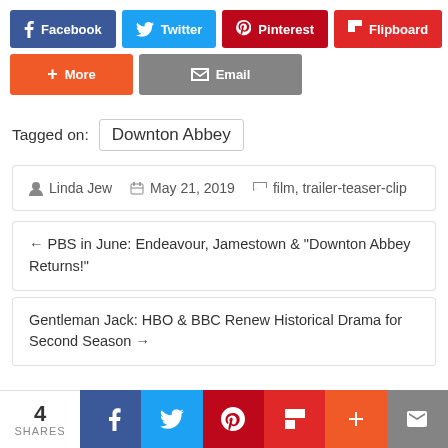[Figure (screenshot): Social share buttons row 1: Facebook (dark blue), Twitter (light blue), Pinterest (dark red), Flipboard (red)]
[Figure (screenshot): Social share buttons row 2: More (orange), Email (gray)]
Tagged on:  Downton Abbey
Linda Jew   May 21, 2019   film, trailer-teaser-clip
← PBS in June: Endeavour, Jamestown & "Downton Abbey Returns!"
Gentleman Jack: HBO & BBC Renew Historical Drama for Second Season →
[Figure (screenshot): Bottom sharing bar with 4 SHARES count and social media icons: Facebook, Twitter, Pinterest, Flipboard, More, Email]